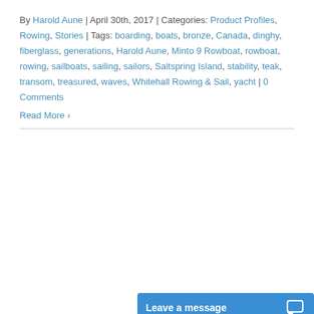By Harold Aune | April 30th, 2017 | Categories: Product Profiles, Rowing, Stories | Tags: boarding, boats, bronze, Canada, dinghy, fiberglass, generations, Harold Aune, Minto 9 Rowboat, rowboat, rowing, sailboats, sailing, sailors, Saltspring Island, stability, teak, transom, treasured, waves, Whitehall Rowing & Sail, yacht | 0 Comments
Read More ›
[Figure (screenshot): Video player showing an error message: 'Player error — The player is having trouble. We'll have it back up and running as soon as possible.' with a close (×) button and an up arrow (^) button, overlaid on a dark blurred background.]
Leave a message